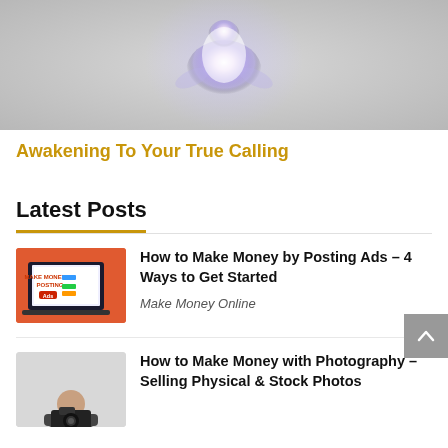[Figure (illustration): Hero image showing a glowing meditating figure in lotus position with purple/blue energy aura on a grey background]
Awakening To Your True Calling
Latest Posts
[Figure (screenshot): Red background thumbnail showing a laptop with 'Make Money by Posting Ads' text and colorful buttons]
How to Make Money by Posting Ads – 4 Ways to Get Started
Make Money Online
[Figure (photo): Person holding a camera, photography related thumbnail]
How to Make Money with Photography – Selling Physical & Stock Photos